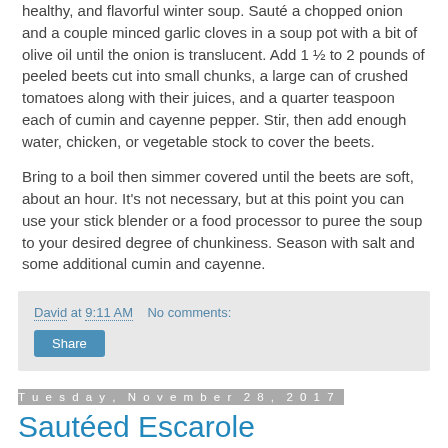healthy, and flavorful winter soup. Saute a chopped onion and a couple minced garlic cloves in a soup pot with a bit of olive oil until the onion is translucent. Add 1 ½ to 2 pounds of peeled beets cut into small chunks, a large can of crushed tomatoes along with their juices, and a quarter teaspoon each of cumin and cayenne pepper. Stir, then add enough water, chicken, or vegetable stock to cover the beets.
Bring to a boil then simmer covered until the beets are soft, about an hour. It's not necessary, but at this point you can use your stick blender or a food processor to puree the soup to your desired degree of chunkiness. Season with salt and some additional cumin and cayenne.
David at 9:11 AM   No comments:
Share
Tuesday, November 28, 2017
Sautéed Escarole